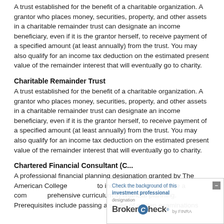A trust established for the benefit of a charitable organization. A grantor who places money, securities, property, and other assets in a charitable remainder trust can designate an income beneficiary, even if it is the grantor herself, to receive payment of a specified amount (at least annually) from the trust. You may also qualify for an income tax deduction on the estimated present value of the remainder interest that will eventually go to charity.
Charitable Remainder Trust
A trust established for the benefit of a charitable organization. A grantor who places money, securities, property, and other assets in a charitable remainder trust can designate an income beneficiary, even if it is the grantor herself, to receive payment of a specified amount (at least annually) from the trust. You may also qualify for an income tax deduction on the estimated present value of the remainder interest that will eventually go to charity.
Chartered Financial Consultant (C...
A professional financial planning designation granted by The American College... to individuals who complete a comprehensive curriculum in financial planning. Prerequisites include passing a series of written examinations...
[Figure (other): BrokerCheck overlay widget by FINRA with text 'Check the background of this investment professional' and BrokerCheck logo]